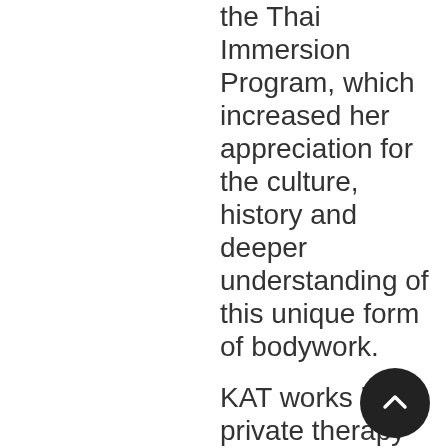the Thai Immersion Program, which increased her appreciation for the culture, history and deeper understanding of this unique form of bodywork.
KAT works in private therapy practice and with University of TN Athletics Department